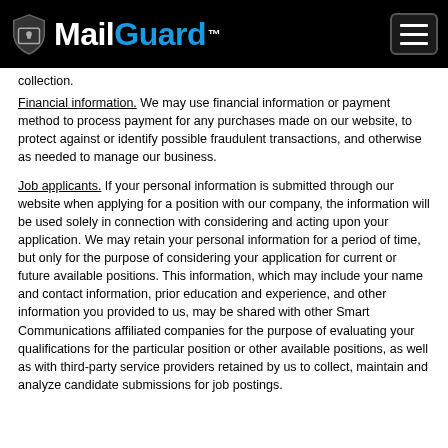MailGuard™
collection.
Financial information. We may use financial information or payment method to process payment for any purchases made on our website, to protect against or identify possible fraudulent transactions, and otherwise as needed to manage our business.
Job applicants. If your personal information is submitted through our website when applying for a position with our company, the information will be used solely in connection with considering and acting upon your application. We may retain your personal information for a period of time, but only for the purpose of considering your application for current or future available positions. This information, which may include your name and contact information, prior education and experience, and other information you provided to us, may be shared with other Smart Communications affiliated companies for the purpose of evaluating your qualifications for the particular position or other available positions, as well as with third-party service providers retained by us to collect, maintain and analyze candidate submissions for job postings.